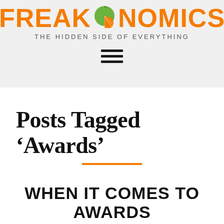FREAKONOMICS — THE HIDDEN SIDE OF EVERYTHING
Posts Tagged ‘Awards’
WHEN IT COMES TO AWARDS
JUL 23, 2013